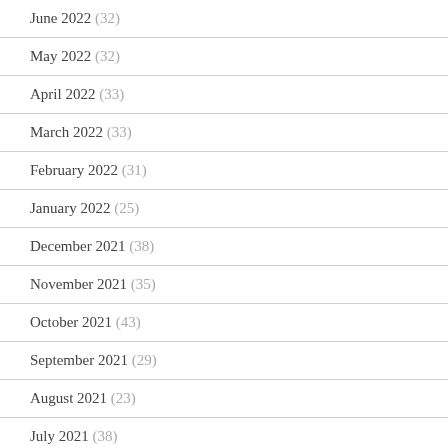June 2022 (32)
May 2022 (32)
April 2022 (33)
March 2022 (33)
February 2022 (31)
January 2022 (25)
December 2021 (38)
November 2021 (35)
October 2021 (43)
September 2021 (29)
August 2021 (23)
July 2021 (38)
June 2021 (22)